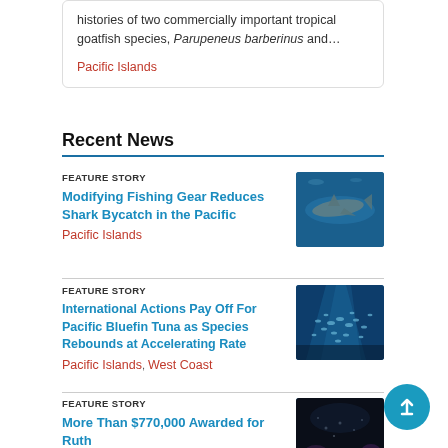histories of two commercially important tropical goatfish species, Parupeneus barberinus and…
Pacific Islands
Recent News
FEATURE STORY
Modifying Fishing Gear Reduces Shark Bycatch in the Pacific
Pacific Islands
[Figure (photo): Underwater photo of a shark swimming in blue water]
FEATURE STORY
International Actions Pay Off For Pacific Bluefin Tuna as Species Rebounds at Accelerating Rate
Pacific Islands, West Coast
[Figure (photo): Underwater photo of fish schooling in deep blue water with light rays]
FEATURE STORY
More Than $770,000 Awarded for Ruth
[Figure (photo): Dark underwater photo showing coral or marine life]